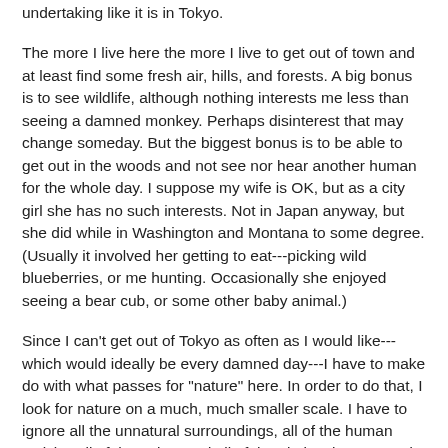undertaking like it is in Tokyo.
The more I live here the more I live to get out of town and at least find some fresh air, hills, and forests. A big bonus is to see wildlife, although nothing interests me less than seeing a damned monkey. Perhaps disinterest that may change someday. But the biggest bonus is to be able to get out in the woods and not see nor hear another human for the whole day. I suppose my wife is OK, but as a city girl she has no such interests. Not in Japan anyway, but she did while in Washington and Montana to some degree. (Usually it involved her getting to eat---picking wild blueberries, or me hunting. Occasionally she enjoyed seeing a bear cub, or some other baby animal.)
Since I can't get out of Tokyo as often as I would like---which would ideally be every damned day---I have to make do with what passes for "nature" here. In order to do that, I look for nature on a much, much smaller scale. I have to ignore all the unnatural surroundings, all of the human activity, all of the noise, and all of the obviously man-made (or arranged for man's pleasure) parts of nature. For example, flood lights